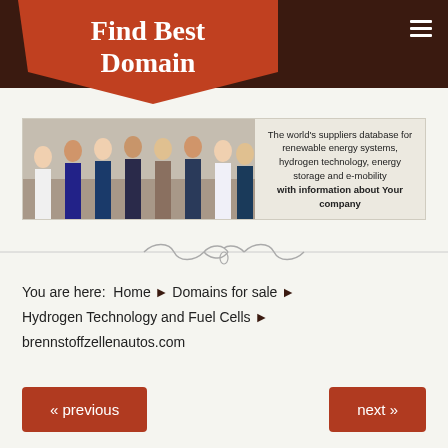Find Best Domain
[Figure (photo): Banner advertisement showing group of business professionals with text about world's suppliers database for renewable energy systems, hydrogen technology, energy storage and e-mobility]
You are here:  Home > Domains for sale > Hydrogen Technology and Fuel Cells > brennstoffzellenautos.com
« previous
next »